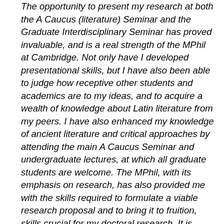The opportunity to present my research at both the A Caucus (literature) Seminar and the Graduate Interdisciplinary Seminar has proved invaluable, and is a real strength of the MPhil at Cambridge. Not only have I developed presentational skills, but I have also been able to judge how receptive other students and academics are to my ideas, and to acquire a wealth of knowledge about Latin literature from my peers. I have also enhanced my knowledge of ancient literature and critical approaches by attending the main A Caucus Seminar and undergraduate lectures, at which all graduate students are welcome. The MPhil, with its emphasis on research, has also provided me with the skills required to formulate a viable research proposal and to bring it to fruition, skills crucial for my doctoral research. It is early days, but I plan to undertake research for a PhD on Tacitus' Annales, with the aim of writing a philological commentary on Annales 13. I aim to combine my skills in textual criticism with those in literary criticism and intertextuality to produce an original and wide-ranging critical evaluation of this important work of literature.